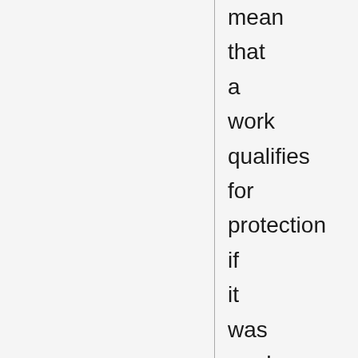mean that a work qualifies for protection if it was made by the monarch or an